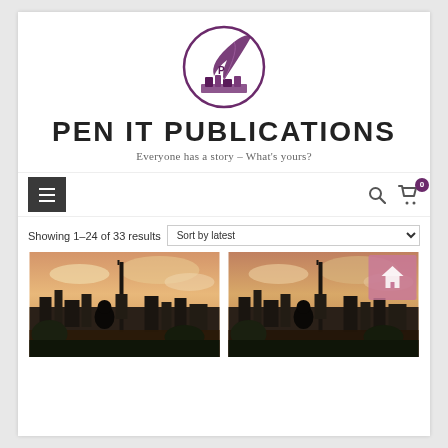[Figure (logo): Pen It Publications logo: circular emblem with a feather quill and books in purple/dark purple tones]
PEN IT PUBLICATIONS
Everyone has a story – What's yours?
[Figure (screenshot): Navigation bar with hamburger menu button on left, search icon and shopping cart icon with badge '0' on right]
Showing 1–24 of 33 results
[Figure (screenshot): Sort by latest dropdown selector]
[Figure (photo): Two product thumbnail images side by side showing a silhouette of a person viewing a city skyline with a tall tower at sunset/golden hour]
[Figure (photo): Second product thumbnail showing similar cityscape silhouette with a pinkish/rose overlay badge in top right corner]